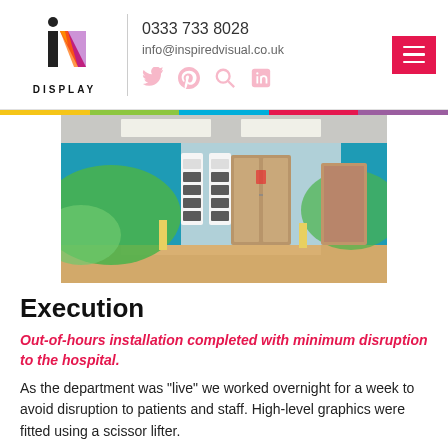IV Display | 0333 733 8028 | info@inspiredvisual.co.uk
[Figure (photo): Hospital corridor with colourful wall graphics, wayfinding panels, and a set of lift doors. Blue and green themed environmental graphics on walls.]
Execution
Out-of-hours installation completed with minimum disruption to the hospital.
As the department was "live" we worked overnight for a week to avoid disruption to patients and staff. High-level graphics were fitted using a scissor lifter.